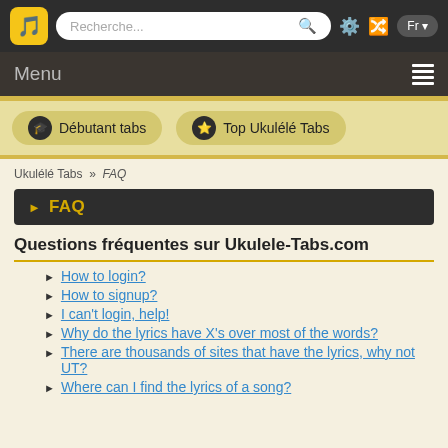Recherche... [search bar] [settings] [shuffle] Fr
Menu
Débutant tabs   Top Ukulélé Tabs
Ukulélé Tabs » FAQ
▶ FAQ
Questions fréquentes sur Ukulele-Tabs.com
How to login?
How to signup?
I can't login, help!
Why do the lyrics have X's over most of the words?
There are thousands of sites that have the lyrics, why not UT?
Where can I find the lyrics of a song?